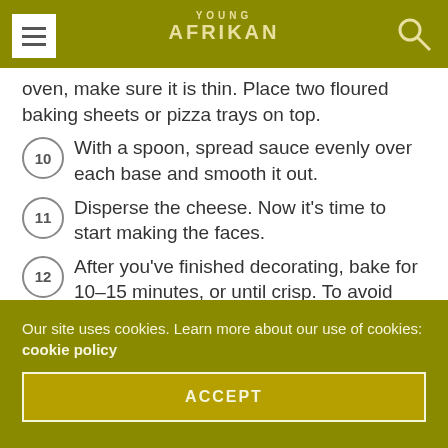YOUNG AFRIKAN
oven, make sure it is thin. Place two floured baking sheets or pizza trays on top.
10  With a spoon, spread sauce evenly over each base and smooth it out.
11  Disperse the cheese. Now it’s time to start making the faces.
12  After you’ve finished decorating, bake for 10–15 minutes, or until crisp. To avoid scorching the toppings, move the pizzas to a lower level halfway through.
Our site uses cookies. Learn more about our use of cookies: cookie policy